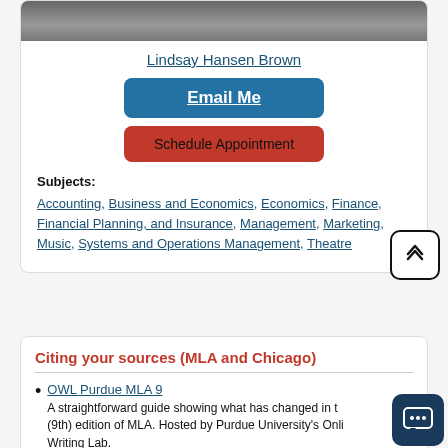[Figure (photo): Grayscale photo strip of a person, cropped at top]
Lindsay Hansen Brown
Email Me
Schedule Appointment
Subjects: Accounting, Business and Economics, Economics, Finance, Financial Planning, and Insurance, Management, Marketing, Music, Systems and Operations Management, Theatre
Citing your sources (MLA and Chicago)
OWL Purdue MLA 9 — A straightforward guide showing what has changed in the (9th) edition of MLA. Hosted by Purdue University's Online Writing Lab.